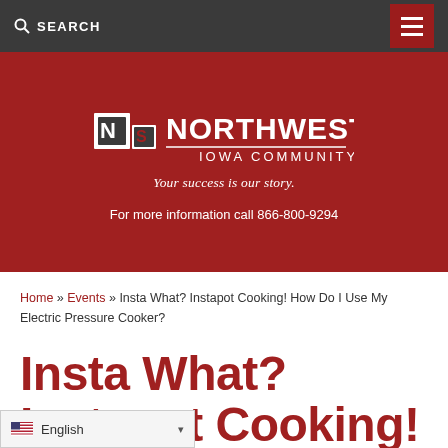SEARCH
[Figure (logo): Northwest Iowa Community College logo with tagline 'Your success is our story.']
For more information call 866-800-9294
Home » Events » Insta What? Instapot Cooking! How Do I Use My Electric Pressure Cooker?
Insta What? Instapot Cooking! How Do I Use My Electric Pressure